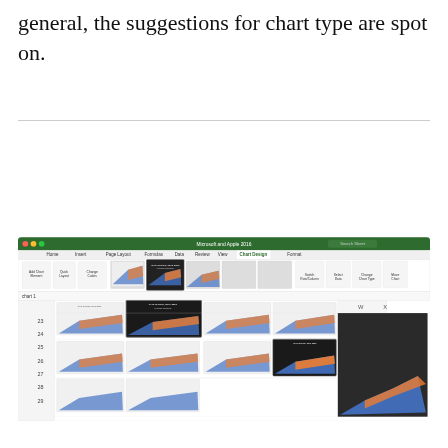general, the suggestions for chart type are spot on.
[Figure (screenshot): Screenshot of Microsoft Excel (Microsoft and Apple 2016) showing the Chart Design ribbon tab with various chart style thumbnails and a spreadsheet with area charts visible, including rows numbered 23-29.]